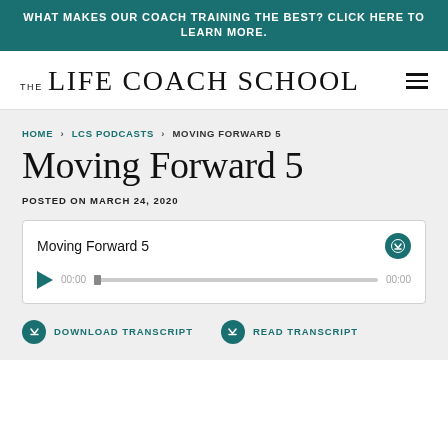WHAT MAKES OUR COACH TRAINING THE BEST? CLICK HERE TO LEARN MORE.
THE LIFE COACH SCHOOL
HOME › LCS PODCASTS › MOVING FORWARD 5
Moving Forward 5
POSTED ON MARCH 24, 2020
[Figure (other): Audio player widget showing 'Moving Forward 5' with play button, progress bar, time stamps 00:00 and 00:00, and download button]
DOWNLOAD TRANSCRIPT
READ TRANSCRIPT